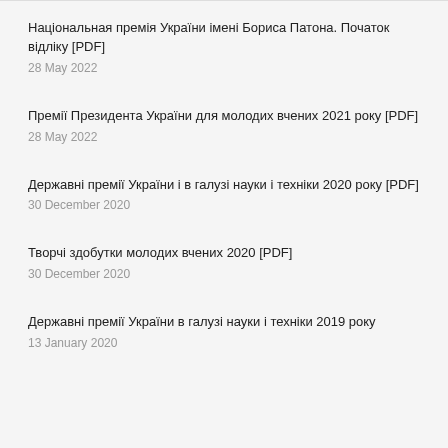Національная премія України імені Бориса Патона. Початок відліку [PDF]
28 May 2022
Премії Президента України для молодих вчених 2021 року [PDF]
28 May 2022
Державні премії України і в галузі науки і техніки 2020 року [PDF]
30 December 2020
Творчі здобутки молодих вчених 2020 [PDF]
30 December 2020
Державні премії України в галузі науки і техніки 2019 року
13 January 2020